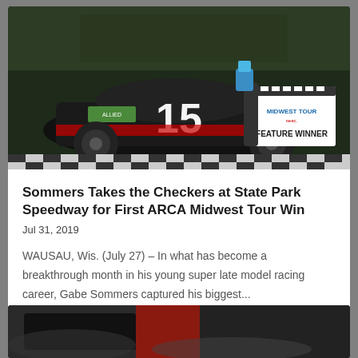[Figure (photo): Racing car number 15, black with sponsor logos, team members standing behind it, driver holding a blue trophy, checkered flag surface, ARCA Midwest Tour Feature Winner sign visible]
Sommers Takes the Checkers at State Park Speedway for First ARCA Midwest Tour Win
Jul 31, 2019
WAUSAU, Wis. (July 27) – In what has become a breakthrough month in his young super late model racing career, Gabe Sommers captured his biggest...
read more
[Figure (photo): Close-up of a racing car, dark background with red and black colors visible, partial view]